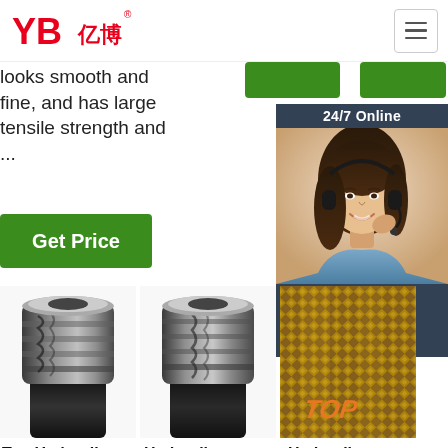[Figure (logo): YB亿博 company logo in red]
looks smooth and fine, and has large tensile strength and ...
[Figure (illustration): 24/7 Online chat support box with woman wearing headset]
[Figure (photo): Green Get Price button]
[Figure (photo): Metal hydraulic hose fitting close-up photo 1]
[Figure (photo): Metal hydraulic hose fitting close-up photo 2]
[Figure (photo): Braided hydraulic hose photo with TOP overlay text]
Top Hydraulic Equipment
Hydraulic Hose,
Hydraulic Hose, Tube &